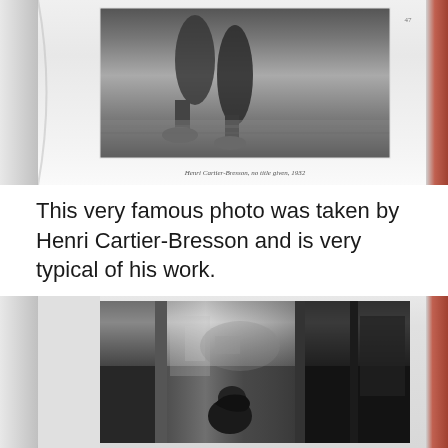[Figure (photo): A black and white photograph shown in an open book, depicting a close-up of legs/feet walking, with a small caption text at the bottom and a page number visible. The book has white pages curving at the edges with a red spine visible on the right.]
This very famous photo was taken by Henri Cartier-Bresson and is very typical of his work.
[Figure (photo): A black and white photograph shown in an open book, depicting what appears to be a person viewed through glass doors or a revolving door, with reflections and a street scene visible. Dark tones dominate the lower portion of the image.]